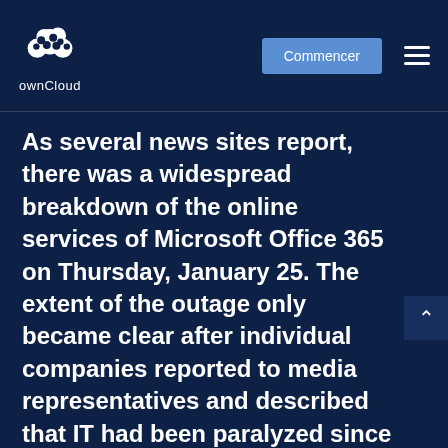ownCloud | Commencer
As several news sites report, there was a widespread breakdown of the online services of Microsoft Office 365 on Thursday, January 25. The extent of the outage only became clear after individual companies reported to media representatives and described that IT had been paralyzed since the morning hours (CET). The official